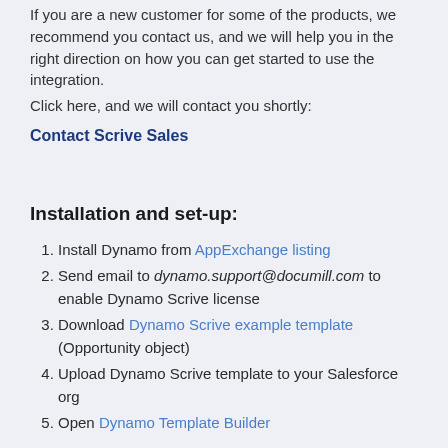If you are a new customer for some of the products, we recommend you contact us, and we will help you in the right direction on how you can get started to use the integration.
Click here, and we will contact you shortly:
Contact Scrive Sales
Installation and set-up:
1. Install Dynamo from AppExchange listing
2. Send email to dynamo.support@documill.com to enable Dynamo Scrive license
3. Download Dynamo Scrive example template (Opportunity object)
4. Upload Dynamo Scrive template to your Salesforce org
5. Open Dynamo Template Builder